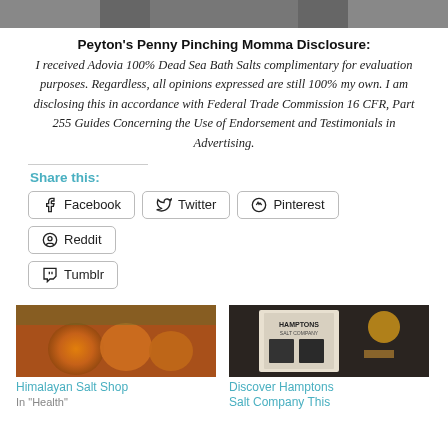[Figure (photo): Partial top image, dark/grey, cropped at top of page]
Peyton's Penny Pinching Momma Disclosure:
I received Adovia 100% Dead Sea Bath Salts complimentary for evaluation purposes. Regardless, all opinions expressed are still 100% my own. I am disclosing this in accordance with Federal Trade Commission 16 CFR, Part 255 Guides Concerning the Use of Endorsement and Testimonials in Advertising.
Share this:
Facebook  Twitter  Pinterest  Reddit  Tumblr
[Figure (photo): Himalayan salt lamps/decorative salt items, orange/amber colored]
Himalayan Salt Shop
In "Health"
[Figure (photo): Hamptons Salt Company product packaging on dark background]
Discover Hamptons Salt Company This